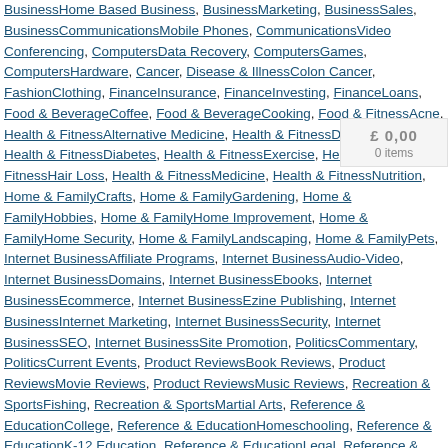BusinessHome Based Business, BusinessMarketing, BusinessSales, BusinessCommunicationsMobile Phones, CommunicationsVideo Conferencing, ComputersData Recovery, ComputersGames, ComputersHardware, Cancer, Disease & IllnessColon Cancer, FashionClothing, FinanceInsurance, FinanceInvesting, FinanceLoans, Food & BeverageCoffee, Food & BeverageCooking, Food & FitnessAcne, Health & FitnessAlternative Medicine, Health & FitnessDepression, Health & FitnessDiabetes, Health & FitnessExercise, Health & FitnessHair Loss, Health & FitnessMedicine, Health & FitnessNutrition, Home & FamilyCrafts, Home & FamilyGardening, Home & FamilyHobbies, Home & FamilyHome Improvement, Home & FamilyHome Security, Home & FamilyLandscaping, Home & FamilyPets, Internet BusinessAffiliate Programs, Internet BusinessAudio-Video, Internet BusinessDomains, Internet BusinessEbooks, Internet BusinessEcommerce, Internet BusinessEzine Publishing, Internet BusinessInternet Marketing, Internet BusinessSecurity, Internet BusinessSEO, Internet BusinessSite Promotion, PoliticsCommentary, PoliticsCurrent Events, Product ReviewsBook Reviews, Product ReviewsMovie Reviews, Product ReviewsMusic Reviews, Recreation & SportsFishing, Recreation & SportsMartial Arts, Reference & EducationCollege, Reference & EducationHomeschooling, Reference & EducationK-12 Education, Reference & EducationLegal, Reference & EducationScience, Self ImprovementAttraction, Self ImprovementCoaching, Self ImprovementCreative, Self ImprovementSuccess, self improvementTime Management, SocietyDivorce, SocietyReligion, SocietySexuality, SocietyWeddings, Travel & LeisureAviation, Travel & LeisureDestinations, Travel & LeisureOutdoors, Travel & LeisureTravel Tips, Uncategorized::Swim, VehiclesBoats, VehiclesCars, Writing & SpeakingWriting
£ 0,00
0 items